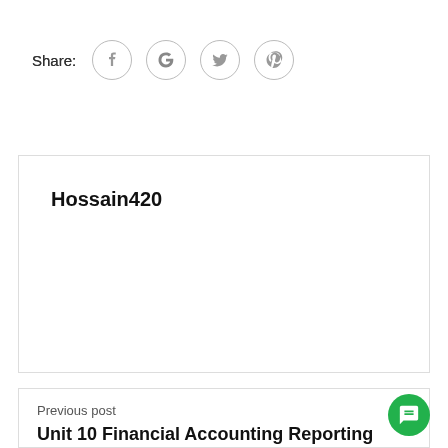Share:
[Figure (other): Social share icons: Facebook, Google, Twitter, Pinterest in circle outlines]
Hossain420
Previous post
Unit 10 Financial Accounting Reporting